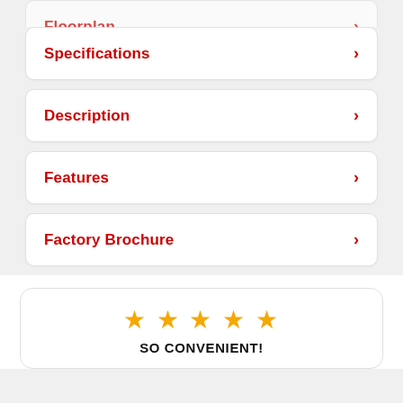Floorplan
Specifications
Description
Features
Factory Brochure
[Figure (other): Five gold stars rating]
SO CONVENIENT!